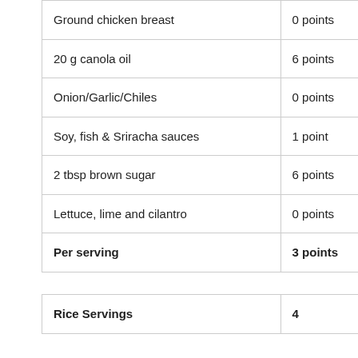|  |  |
| --- | --- |
| Ground chicken breast | 0 points |
| 20 g canola oil | 6 points |
| Onion/Garlic/Chiles | 0 points |
| Soy, fish & Sriracha sauces | 1 point |
| 2 tbsp brown sugar | 6 points |
| Lettuce, lime and cilantro | 0 points |
| Per serving | 3 points |
| Rice Servings | 4 |
| --- | --- |